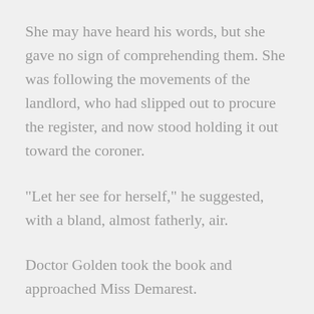She may have heard his words, but she gave no sign of comprehending them. She was following the movements of the landlord, who had slipped out to procure the register, and now stood holding it out toward the coroner.
"Let her see for herself," he suggested, with a bland, almost fatherly, air.
Doctor Golden took the book and approached Miss Demarest.